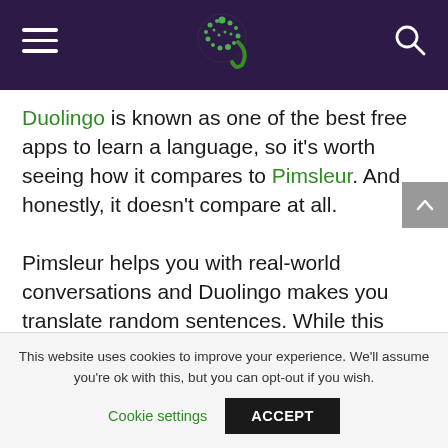[Navigation header with logo, hamburger menu, and search icon]
Duolingo is known as one of the best free apps to learn a language, so it's worth seeing how it compares to Pimsleur. And honestly, it doesn't compare at all.

Pimsleur helps you with real-world conversations and Duolingo makes you translate random sentences. While this may be helpful for vocabulary (sometimes), Pimsleur is the only one of the two that actually helps you communicate with native
This website uses cookies to improve your experience. We'll assume you're ok with this, but you can opt-out if you wish. Cookie settings  ACCEPT